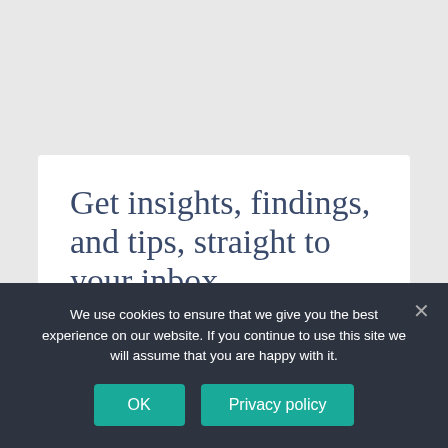Get insights, findings, and tips, straight to your inbox
Join my newsletter to receive insights, findings and tips that I've been discovering. All from creating a set of
We use cookies to ensure that we give you the best experience on our website. If you continue to use this site we will assume that you are happy with it.
OK
Privacy policy